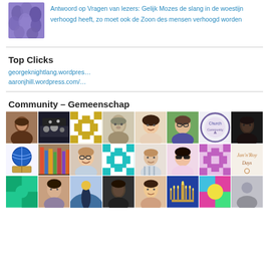[Figure (photo): Thumbnail image of purple flower petals]
Antwoord op Vragen van lezers: Gelijk Mozes de slang in de woestijn verhoogd heeft, zo moet ook de Zoon des mensen verhoogd worden
Top Clicks
georgeknightlang.wordpres…
aaronjhill.wordpress.com/…
Community – Gemeenschap
[Figure (photo): Grid of community member avatar photos arranged in rows]